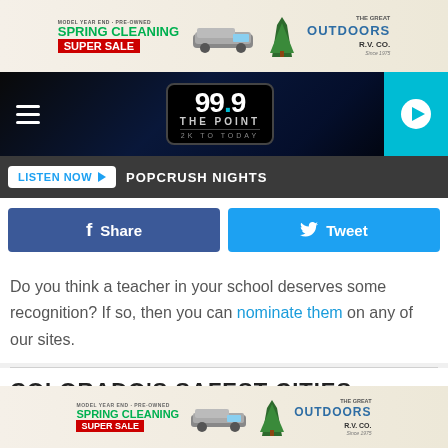[Figure (other): Top advertisement banner: Spring Cleaning Super Sale RV dealership ad with RV image and The Great Outdoors R.V. Co. branding]
[Figure (other): Website header with hamburger menu, 99.9 The Point radio station logo (2K to Today), and blue play button]
LISTEN NOW  ▶  POPCRUSH NIGHTS
Share | Tweet
Do you think a teacher in your school deserves some recognition? If so, then you can nominate them on any of our sites.
COLORADO'S SAFEST CITIES
[Figure (other): Bottom advertisement banner: Spring Cleaning Super Sale RV dealership ad with RV image and The Great Outdoors R.V. Co. branding]